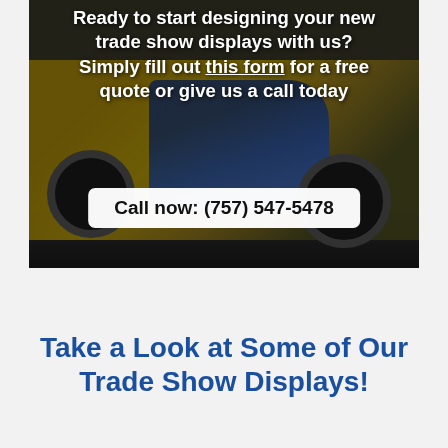[Figure (photo): Photo of a yellow branded company van/vehicle with blue logo stripe, partially darkened overlay, with white bold text overlay reading: Ready to start designing your new trade show displays with us? Simply fill out this form for a free quote or give us a call today. Below text is a white call-to-action box with phone number.]
Ready to start designing your new trade show displays with us? Simply fill out this form for a free quote or give us a call today
Call now: (757) 547-5478
Take a Look at Some of Our Trade Show Displays!